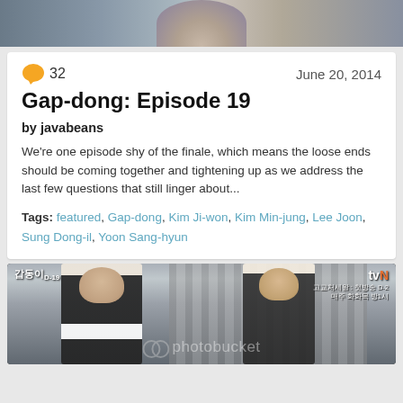[Figure (photo): Top partial photo, blurred/cropped image of a person from a Korean drama]
Gap-dong: Episode 19
by javabeans
We're one episode shy of the finale, which means the loose ends should be coming together and tightening up as we address the last few questions that still linger about...
Tags: featured, Gap-dong, Kim Ji-won, Kim Min-jung, Lee Joon, Sung Dong-il, Yoon Sang-hyun
[Figure (screenshot): Screenshot from Korean drama Gap-dong showing two men facing each other, tvN logo in top right corner, Korean text overlay, photobucket watermark at bottom]